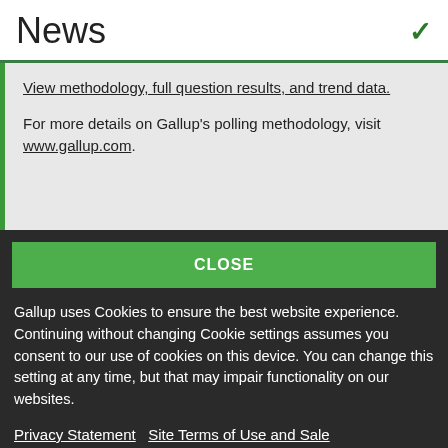News
View methodology, full question results, and trend data.
For more details on Gallup's polling methodology, visit www.gallup.com.
CLOSE
Gallup uses Cookies to ensure the best website experience. Continuing without changing Cookie settings assumes you consent to our use of cookies on this device. You can change this setting at any time, but that may impair functionality on our websites.
Privacy Statement   Site Terms of Use and Sale
Product Terms of Use   Adjust your cookie settings.